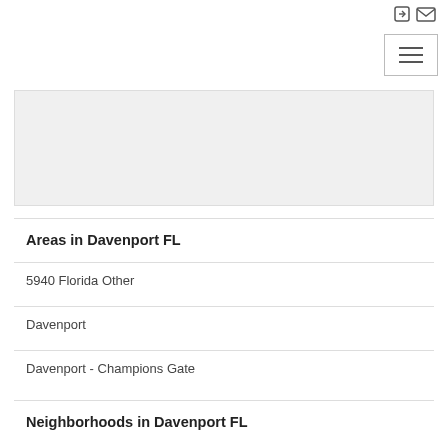[Figure (screenshot): Gray banner/image placeholder box]
Areas in Davenport FL
5940 Florida Other
Davenport
Davenport - Champions Gate
Neighborhoods in Davenport FL